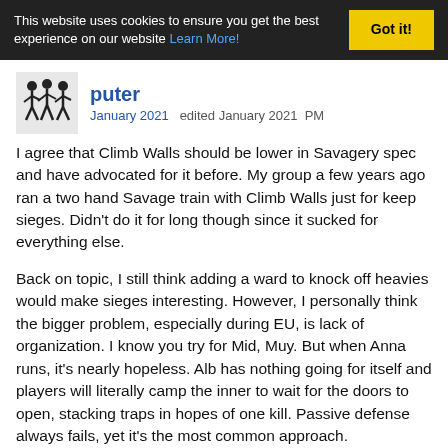This website uses cookies to ensure you get the best experience on our website Learn More! Got it!
puter
January 2021  edited January 2021  PM
I agree that Climb Walls should be lower in Savagery spec and have advocated for it before. My group a few years ago ran a two hand Savage train with Climb Walls just for keep sieges. Didn't do it for long though since it sucked for everything else.
Back on topic, I still think adding a ward to knock off heavies would make sieges interesting. However, I personally think the bigger problem, especially during EU, is lack of organization. I know you try for Mid, Muy. But when Anna runs, it's nearly hopeless. Alb has nothing going for itself and players will literally camp the inner to wait for the doors to open, stacking traps in hopes of one kill. Passive defense always fails, yet it's the most common approach.
Xuu showed recently, like Nate did way before, that if Albs play aggressively, they can win fights. Both open field and in defense. Then Rescu runs the show and get slaughtered because they run away on inc.